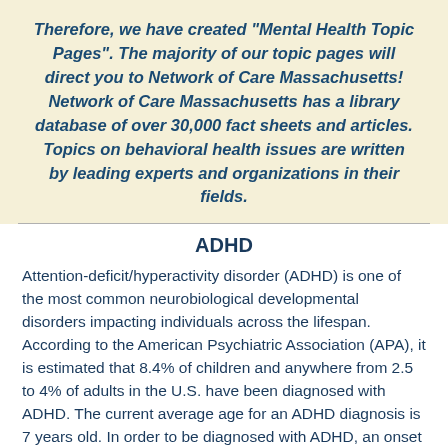Therefore, we have created "Mental Health Topic Pages". The majority of our topic pages will direct you to Network of Care Massachusetts! Network of Care Massachusetts has a library database of over 30,000 fact sheets and articles. Topics on behavioral health issues are written by leading experts and organizations in their fields.
ADHD
Attention-deficit/hyperactivity disorder (ADHD) is one of the most common neurobiological developmental disorders impacting individuals across the lifespan. According to the American Psychiatric Association (APA), it is estimated that 8.4% of children and anywhere from 2.5 to 4% of adults in the U.S. have been diagnosed with ADHD. The current average age for an ADHD diagnosis is 7 years old. In order to be diagnosed with ADHD, an onset of symptoms must occur before the age of 12 and be present in at least two settings (e.g. school and at home). Some symptoms of ADHD